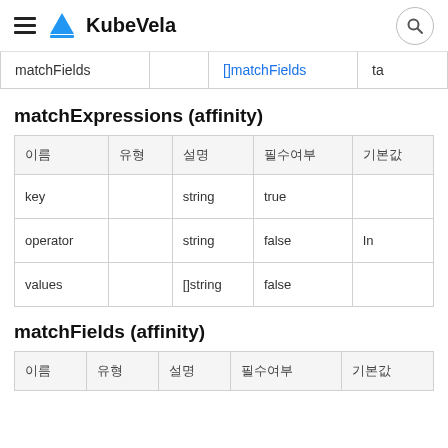KubeVela
| matchFields |  | []matchFields | ta |
| --- | --- | --- | --- |
matchExpressions (affinity)
| 이름 | 유형 | 설명 | 필수여부 | 기본값 |
| --- | --- | --- | --- | --- |
| key |  | string | true |  |
| operator |  | string | false | In |
| values |  | []string | false |  |
matchFields (affinity)
| 이름 | 유형 | 설명 | 필수여부 | 기본값 |
| --- | --- | --- | --- | --- |